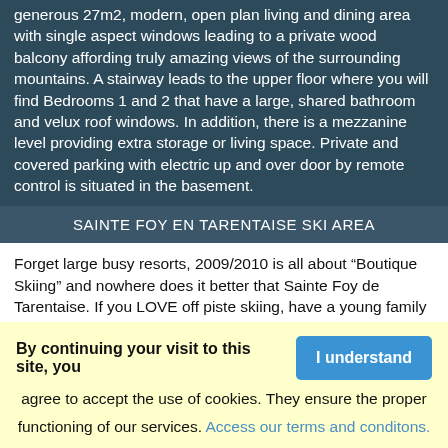generous 27m2, modern, open plan living and dining area with single aspect windows leading to a private wood balcony affording truly amazing views of the surrounding mountains. A stairway leads to the upper floor where you will find Bedrooms 1 and 2 that have a large, shared bathroom and velux roof windows. In addition, there is a mezzanine level providing extra storage or living space. Private and covered parking with electric up and over door by remote control is situated in the basement.
SAINTE FOY EN TARENTAISE SKI AREA
Forget large busy resorts, 2009/2010 is all about “Boutique Skiing” and nowhere does it better that Sainte Foy de Tarentaise. If you LOVE off piste skiing, have a young family and enjoy a chalet atmosphere well then you will REALLY LOVE Sainte Foy. It’s one of the prettiest modern ski villages in France.
Nestled among the trees at 1550 metres in a sunny bowl above the Savoie Isere valley, it’s just a short car ride away from a host of
By continuing your visit to this site, you agree to accept the use of cookies. They ensure the proper functioning of our services. Access our terms and conditons.